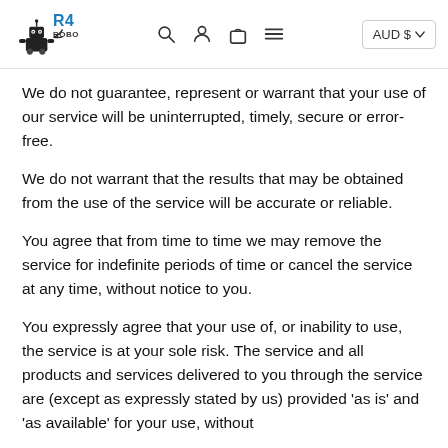R4 Robotics — AUD $
We do not guarantee, represent or warrant that your use of our service will be uninterrupted, timely, secure or error-free.
We do not warrant that the results that may be obtained from the use of the service will be accurate or reliable.
You agree that from time to time we may remove the service for indefinite periods of time or cancel the service at any time, without notice to you.
You expressly agree that your use of, or inability to use, the service is at your sole risk. The service and all products and services delivered to you through the service are (except as expressly stated by us) provided 'as is' and 'as available' for your use, without